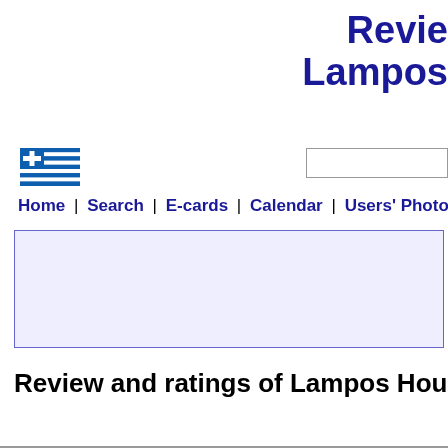Review and ratings of Lampos
[Figure (logo): Greek flag icon]
[Figure (other): Search input box]
Home | Search | E-cards | Calendar | Users' Photo Albums |
[Figure (other): Advertisement banner area]
Review and ratings of Lampos House